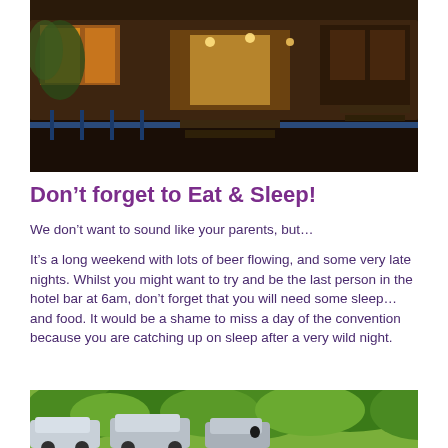[Figure (photo): Exterior photo of a restaurant or bar at night with warm lighting, outdoor seating, and decorative iron railings]
Don’t forget to Eat & Sleep!
We don’t want to sound like your parents, but…
It’s a long weekend with lots of beer flowing, and some very late nights. Whilst you might want to try and be the last person in the hotel bar at 6am, don’t forget that you will need some sleep… and food. It would be a shame to miss a day of the convention because you are catching up on sleep after a very wild night.
[Figure (photo): Outdoor area with cars parked and lush green trees and bushes visible]